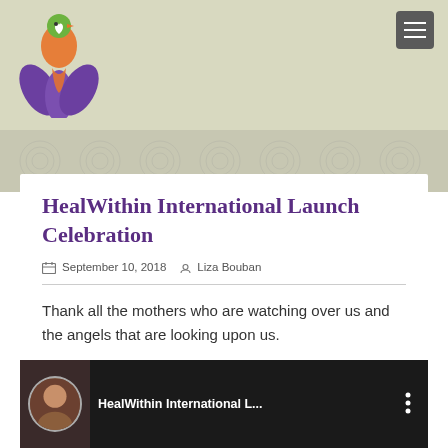[Figure (logo): HealWithin logo: orange and green bird/heart figure with purple lotus flower leaves]
≡
[Figure (illustration): Decorative banner with light grey mandala/floral patterns on a sage green background]
HealWithin International Launch Celebration
September 10, 2018  Liza Bouban
Thank all the mothers who are watching over us and the angels that are looking upon us.
[Figure (screenshot): Video thumbnail showing HealWithin International L... with circular avatar of a woman and three-dot menu icon on dark background]